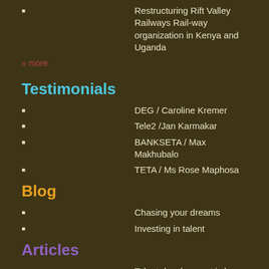Restructuring Rift Valley Railways Rail-way organization in Kenya and Uganda
» more
Testimonials
DEG / Caroline Kremer
Tele2 /Jan Karmakar
BANKSETA / Max Makhubalo
TETA / Ms Rose Maphosa
Blog
Chasing your dreams
Investing in talent
Articles
Talent development is key to economic growth
Courses
PI Academy
Cyber Awareness Workshop